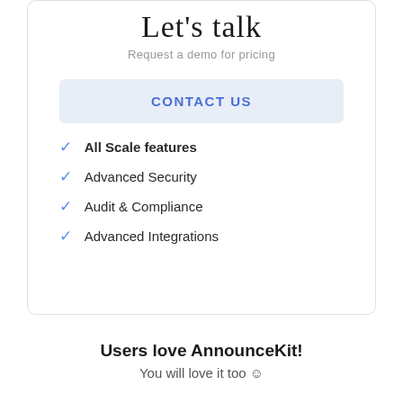Let's talk
Request a demo for pricing
CONTACT US
All Scale features
Advanced Security
Audit & Compliance
Advanced Integrations
Users love AnnounceKit!
You will love it too ☺